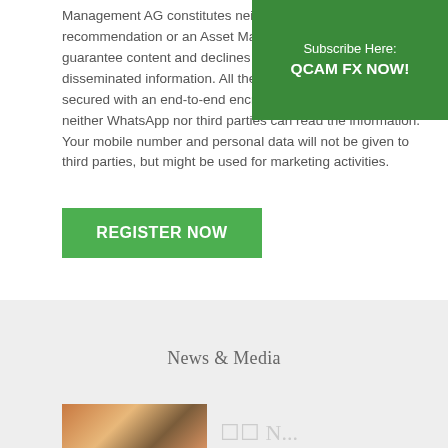[Figure (other): Green subscription banner in top-right corner reading 'Subscribe Here: QCAM FX NOW!']
Management AG constitutes neither consultation, recommendation or an Asset Management AG does not guarantee content and declines all liability for co... disseminated information. All the messages in this chat are secured with an end-to-end encryption, which means that neither WhatsApp nor third parties can read the information. Your mobile number and personal data will not be given to third parties, but might be used for marketing activities.
[Figure (other): Green 'REGISTER NOW' button]
News & Media
[Figure (photo): Partially visible thumbnail image at bottom left]